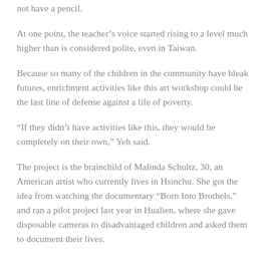not have a pencil.
At one point, the teacher's voice started rising to a level much higher than is considered polite, even in Taiwan.
Because so many of the children in the community have bleak futures, enrichment activities like this art workshop could be the last line of defense against a life of poverty.
“If they didn’t have activities like this, they would be completely on their own,” Yeh said.
The project is the brainchild of Malinda Schultz, 30, an American artist who currently lives in Hsinchu. She got the idea from watching the documentary “Born Into Brothels,” and ran a pilot project last year in Hualien, where she gave disposable cameras to disadvantaged children and asked them to document their lives.